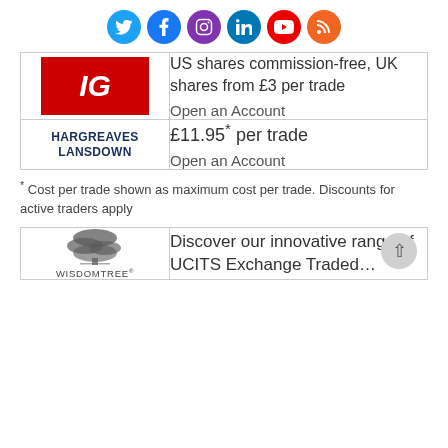[Figure (infographic): Social media icon row: Twitter (blue circle), Facebook (blue circle), Instagram (purple circle), LinkedIn (blue circle), YouTube (red circle), RSS (orange circle)]
| IG logo | US shares commission-free, UK shares from £3 per trade
Open an Account |
| HARGREAVES LANSDOWN logo | £11.95* per trade
Open an Account |
* Cost per trade shown as maximum cost per trade. Discounts for active traders apply
| WisdomTree logo | Discover our innovative range of UCITS Exchange Traded... |